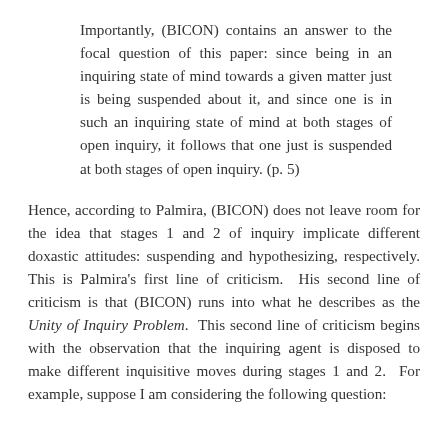Importantly, (BICON) contains an answer to the focal question of this paper: since being in an inquiring state of mind towards a given matter just is being suspended about it, and since one is in such an inquiring state of mind at both stages of open inquiry, it follows that one just is suspended at both stages of open inquiry. (p. 5)
Hence, according to Palmira, (BICON) does not leave room for the idea that stages 1 and 2 of inquiry implicate different doxastic attitudes: suspending and hypothesizing, respectively. This is Palmira’s first line of criticism. His second line of criticism is that (BICON) runs into what he describes as the Unity of Inquiry Problem. This second line of criticism begins with the observation that the inquiring agent is disposed to make different inquisitive moves during stages 1 and 2. For example, suppose I am considering the following question: